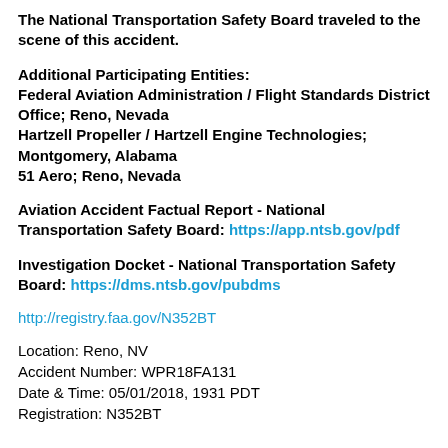The National Transportation Safety Board traveled to the scene of this accident.
Additional Participating Entities:
Federal Aviation Administration / Flight Standards District Office; Reno, Nevada
Hartzell Propeller / Hartzell Engine Technologies; Montgomery, Alabama
51 Aero; Reno, Nevada
Aviation Accident Factual Report - National Transportation Safety Board: https://app.ntsb.gov/pdf
Investigation Docket - National Transportation Safety Board: https://dms.ntsb.gov/pubdms
http://registry.faa.gov/N352BT
Location: Reno, NV
Accident Number: WPR18FA131
Date & Time: 05/01/2018, 1931 PDT
Registration: N352BT